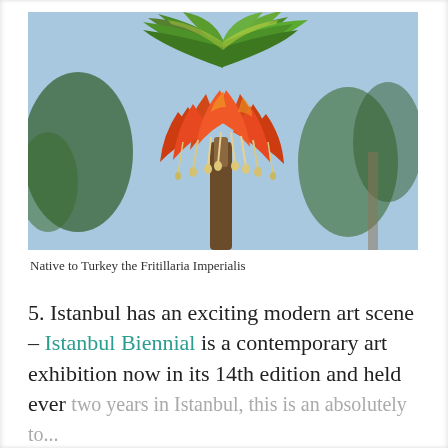[Figure (photo): Close-up photograph of a Fritillaria Imperialis flower (Crown Imperial lily) with vibrant orange-red drooping bell-shaped blossoms and cream-colored stamens hanging from a tall brown stem, topped with a crown of green leaves, against a blurred background of blue sky and trees.]
Native to Turkey the Fritillaria Imperialis
5. Istanbul has an exciting modern art scene – Istanbul Biennial is a contemporary art exhibition now in its 14th edition and held ever two years in Istanbul, this is an absolutely to...